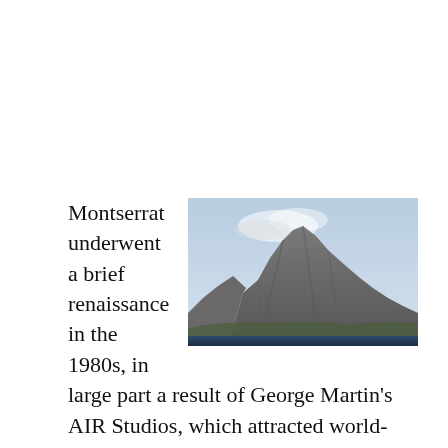[Figure (photo): A volcanic mountain (likely Soufrière Hills on Montserrat) rising above a dark blue sea, with smoke or cloud at the summit, under a hazy blue sky.]
Montserrat underwent a brief renaissance in the 1980s, in large part a result of George Martin's AIR Studios, which attracted world-famous recording artists from all across the globe to record their records on the island. In 1989, however, most of the infrastructure of the island was destroyed by Hurricane Hugo, and